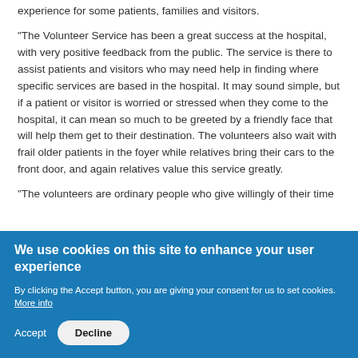experience for some patients, families and visitors.
“The Volunteer Service has been a great success at the hospital, with very positive feedback from the public. The service is there to assist patients and visitors who may need help in finding where specific services are based in the hospital. It may sound simple, but if a patient or visitor is worried or stressed when they come to the hospital, it can mean so much to be greeted by a friendly face that will help them get to their destination. The volunteers also wait with frail older patients in the foyer while relatives bring their cars to the front door, and again relatives value this service greatly.
“The volunteers are ordinary people who give willingly of their time
We use cookies on this site to enhance your user experience
By clicking the Accept button, you are giving your consent for us to set cookies. More info